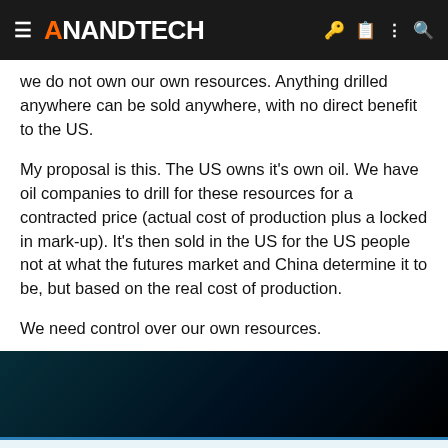AnandTech
we do not own our own resources. Anything drilled anywhere can be sold anywhere, with no direct benefit to the US.
My proposal is this. The US owns it's own oil. We have oil companies to drill for these resources for a contracted price (actual cost of production plus a locked in mark-up). It's then sold in the US for the US people not at what the futures market and China determine it to be, but based on the real cost of production.
We need control over our own resources.
[Figure (other): Dark gradient banner area]
This site uses cookies to help personalise content, tailor your experience and to keep you logged in if you register.
By continuing to use this site, you are consenting to our use of cookies.